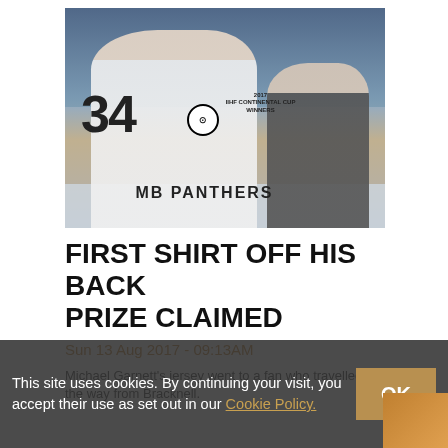[Figure (photo): Two men posing for a photo at an ice hockey arena. The man on the left is wearing a white GMB Panthers ice hockey jersey with the number 34 and '2017 IIHF Continental Cup Winners' text. The man on the right is in dark clothing. Stadium seating is visible in the background.]
FIRST SHIRT OFF HIS BACK PRIZE CLAIMED
Sun 13 Aug 2017 - 09:13AM
Michael Garnett's jersey went to a fan who travelled all the way from Bracknell.
This site uses cookies. By continuing your visit, you accept their use as set out in our Cookie Policy.